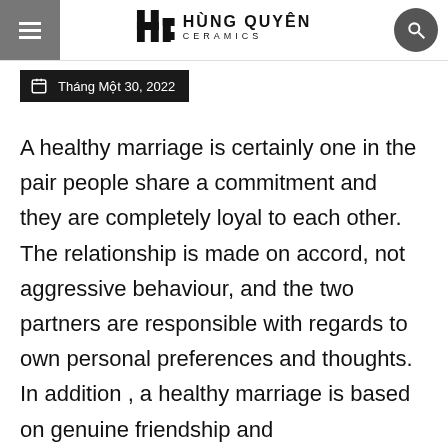HÙNG QUYÊN CERAMICS
Tháng Một 30, 2022
A healthy marriage is certainly one in the pair people share a commitment and they are completely loyal to each other. The relationship is made on accord, not aggressive behaviour, and the two partners are responsible with regards to own personal preferences and thoughts. In addition , a healthy marriage is based on genuine friendship and